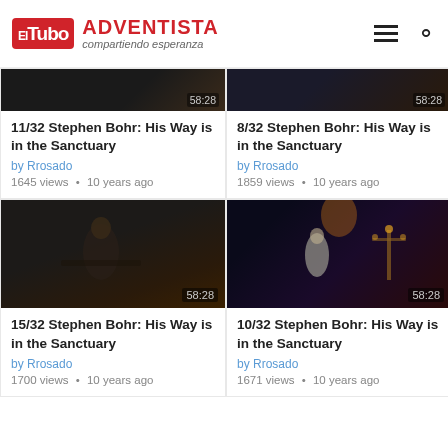ElTubo ADVENTISTA compartiendo esperanza
[Figure (screenshot): Video thumbnail top-left, partially cropped, dark scene with duration 58:28]
[Figure (screenshot): Video thumbnail top-right, partially cropped, dark scene with duration 58:28]
11/32 Stephen Bohr: His Way is in the Sanctuary
by Rrosado
1645 views • 10 years ago
8/32 Stephen Bohr: His Way is in the Sanctuary
by Rrosado
1859 views • 10 years ago
[Figure (screenshot): Video thumbnail bottom-left, man speaking at podium, dark background, duration 58:28]
[Figure (screenshot): Video thumbnail bottom-right, temple scene with menorah, duration 58:28]
15/32 Stephen Bohr: His Way is in the Sanctuary
by Rrosado
1700 views • 10 years ago
10/32 Stephen Bohr: His Way is in the Sanctuary
by Rrosado
1671 views • 10 years ago